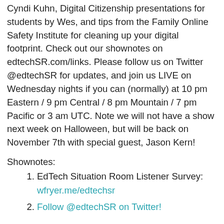Cyndi Kuhn, Digital Citizenship presentations for students by Wes, and tips from the Family Online Safety Institute for cleaning up your digital footprint. Check out our shownotes on edtechSR.com/links. Please follow us on Twitter @edtechSR for updates, and join us LIVE on Wednesday nights if you can (normally) at 10 pm Eastern / 9 pm Central / 8 pm Mountain / 7 pm Pacific or 3 am UTC. Note we will not have a show next week on Halloween, but will be back on November 7th with special guest, Jason Kern!
Shownotes:
EdTech Situation Room Listener Survey: wfryer.me/edtechsr
Follow @edtechSR on Twitter!